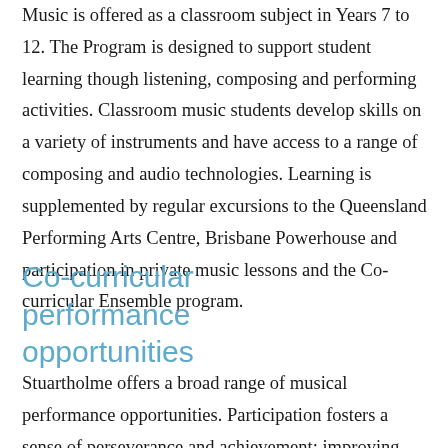Music is offered as a classroom subject in Years 7 to 12. The Program is designed to support student learning though listening, composing and performing activities. Classroom music students develop skills on a variety of instruments and have access to a range of composing and audio technologies. Learning is supplemented by regular excursions to the Queensland Performing Arts Centre, Brisbane Powerhouse and participation in private music lessons and the Co-curricular Ensemble program.
Co-curricular performance opportunities
Stuartholme offers a broad range of musical performance opportunities. Participation fosters a sense of perseverance and achievement; improving responsibility,